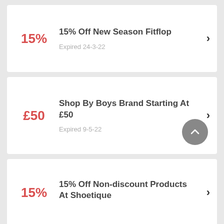15% Off New Season Fitflop | Expired 24-3-22
£50 Shop By Boys Brand Starting At £50 | Expired 9-5-22
15% Off Non-discount Products At Shoetique